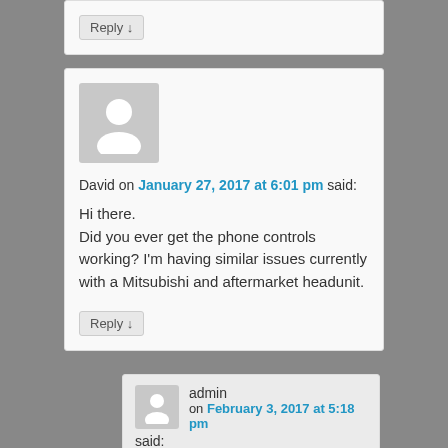Reply ↓
David on January 27, 2017 at 6:01 pm said:
Hi there.
Did you ever get the phone controls working? I'm having similar issues currently with a Mitsubishi and aftermarket headunit.
Reply ↓
admin on February 3, 2017 at 5:18 pm said: